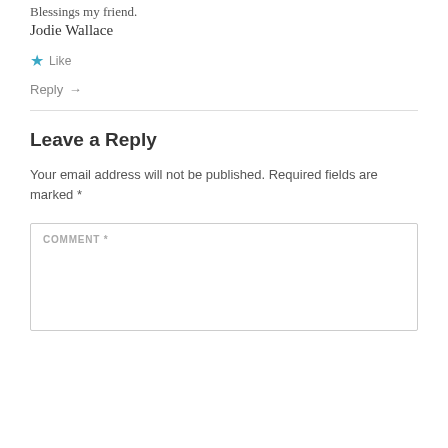Blessings my friend.
Jodie Wallace
★ Like
Reply →
Leave a Reply
Your email address will not be published. Required fields are marked *
COMMENT *